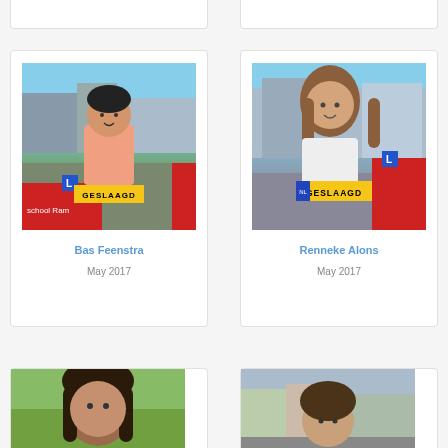[Figure (photo): Young man holding a GESLAAGD (passed) sign standing in front of a red driving school car, outdoor parking area]
Bas Feenstra
May 2017
[Figure (photo): Young woman holding a GESLAAGD (passed) sign standing in front of a red driving school car, outdoor area]
Renneke Alons
May 2017
[Figure (photo): Woman outdoors, partial view, driving school context]
[Figure (photo): Person outdoors in front of buildings, driving school context]